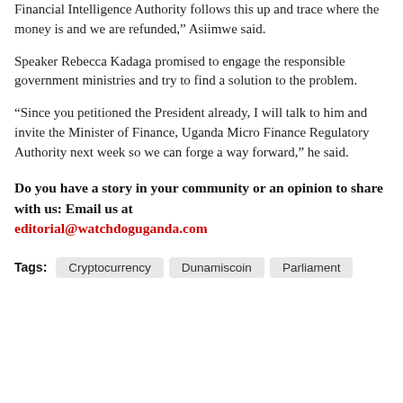Financial Intelligence Authority follows this up and trace where the money is and we are refunded,” Asiimwe said.
Speaker Rebecca Kadaga promised to engage the responsible government ministries and try to find a solution to the problem.
“Since you petitioned the President already, I will talk to him and invite the Minister of Finance, Uganda Micro Finance Regulatory Authority next week so we can forge a way forward,” he said.
Do you have a story in your community or an opinion to share with us: Email us at editorial@watchdoguganda.com
Cryptocurrency
Dunamiscoin
Parliament